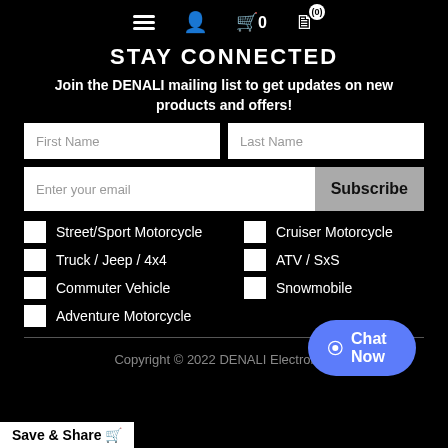Navigation icons: menu, user, cart (0), notes (0)
STAY CONNECTED
Join the DENALI mailing list to get updates on new products and offers!
Form fields: First Name, Last Name, Enter your email, Subscribe button
Street/Sport Motorcycle
Cruiser Motorcycle
Truck / Jeep / 4x4
ATV / SxS
Commuter Vehicle
Snowmobile
Adventure Motorcycle
Copyright © 2022 DENALI Electronics